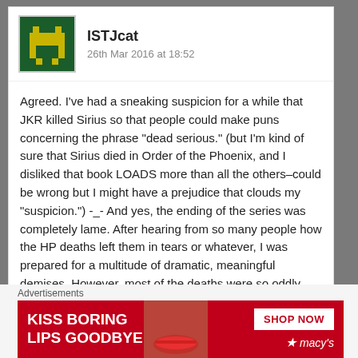[Figure (illustration): Pixel art avatar of a green alien/space invader character on dark green background]
ISTJcat
26th Mar 2016 at 18:52
Agreed. I've had a sneaking suspicion for a while that JKR killed Sirius so that people could make puns concerning the phrase "dead serious." (but I'm kind of sure that Sirius died in Order of the Phoenix, and I disliked that book LOADS more than all the others–could be wrong but I might have a prejudice that clouds my "suspicion.") -_- And yes, the ending of the series was completely lame. After hearing from so many people how the HP deaths left them in tears or whatever, I was prepared for a multitude of dramatic, meaningful demises. However, most of the deaths were so oddly anticlimactic that I was left saying "Okay…so I guess he died?" And when it ended "Okay…so I guess it ended?" Ah well, not every ultra-famous book has to be famous for a
Advertisements
[Figure (photo): Macy's advertisement banner: 'KISS BORING LIPS GOODBYE' with red background, woman's face with red lipstick, SHOP NOW button, and Macy's star logo]